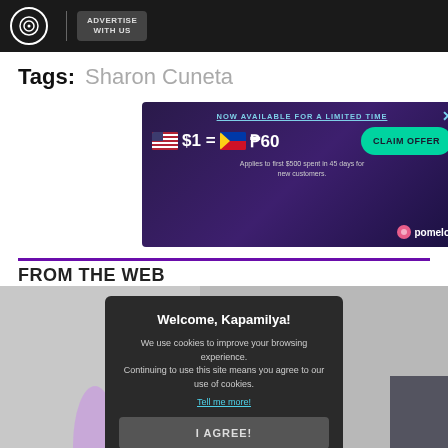ABS-CBN | ADVERTISE WITH US
Tags: Sharon Cuneta
[Figure (screenshot): Advertisement banner for Pomelo: NOW AVAILABLE FOR A LIMITED TIME. $1 = ₱60. CLAIM OFFER. Applies to first $500 spent in 45 days for new customers. Pomelo logo.]
FROM THE WEB
[Figure (screenshot): Cookie consent modal overlay on photo of smoothie and walnuts. Modal says: Welcome, Kapamilya! We use cookies to improve your browsing experience. Continuing to use this site means you agree to our use of cookies. Tell me more! I AGREE!]